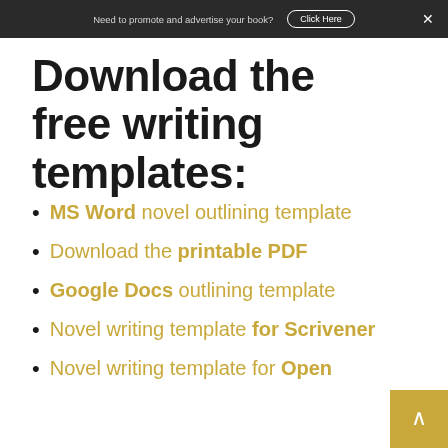Need to promote and advertise your book? Click Here
Download the free writing templates:
MS Word novel outlining template
Download the printable PDF
Google Docs outlining template
Novel writing template for Scrivener
Novel writing template for Open